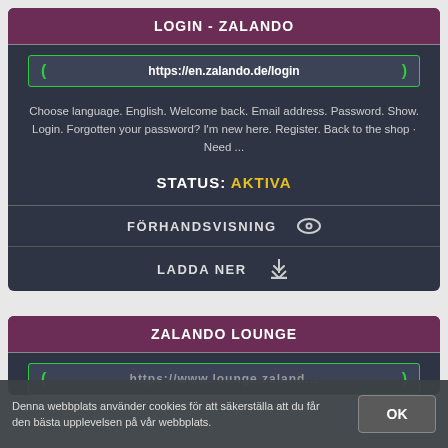LOGIN - ZALANDO
https://en.zalando.de/login
Choose language. English. Welcome back. Email address. Password. Show. Login. Forgotten your password? I'm new here. Register. Back to the shop · Need ...
STATUS: AKTIVA
FÖRHANDSVISNING
LADDA NER
ZALANDO LOUNGE
https://...
Denna webbplats använder cookies för att säkerställa att du får den bästa upplevelsen på vår webbplats.